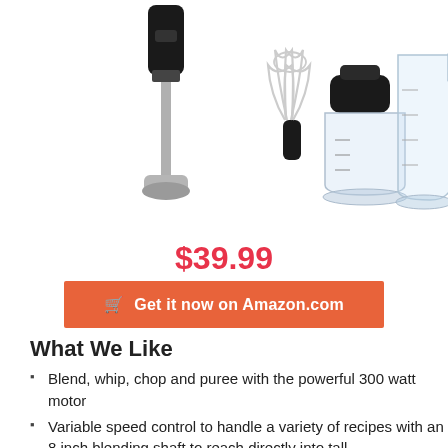[Figure (photo): Product photo showing an immersion blender set with a black handheld blender stick, a whisk attachment, a food chopper bowl with blade, and a clear measuring cup, all on a white background.]
$39.99
Get it now on Amazon.com
What We Like
Blend, whip, chop and puree with the powerful 300 watt motor
Variable speed control to handle a variety of recipes with an 8 inch blending shaft to reach directly into tall